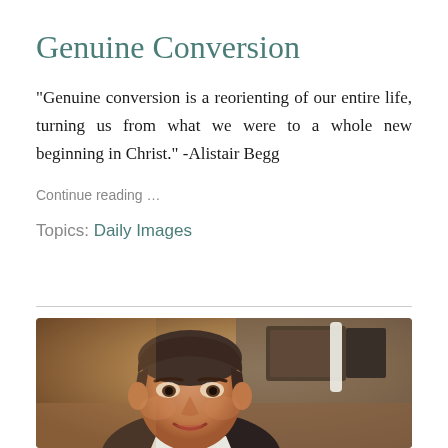Genuine Conversion
“Genuine conversion is a reorienting of our entire life, turning us from what we were to a whole new beginning in Christ.” -Alistair Begg
Continue reading …
Topics: Daily Images
[Figure (photo): A middle-aged man with short brown hair, smiling slightly, wearing a dark top, photographed in an indoor setting with warm ambient lighting and blurred background decor.]